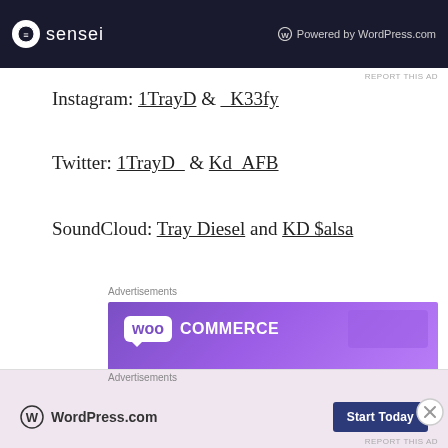[Figure (screenshot): Dark banner ad showing Sensei logo and 'Powered by WordPress.com' text]
REPORT THIS AD
Instagram: 1TrayD & _K33fy
Twitter: 1TrayD_ & Kd_AFB
SoundCloud: Tray Diesel and KD $alsa
Advertisements
[Figure (screenshot): WooCommerce advertisement banner with purple gradient background showing WooCommerce logo and text 'The most customizable eCommerce platform']
Advertisements
[Figure (screenshot): WordPress.com advertisement with pink background showing WordPress logo and 'Start Today' button]